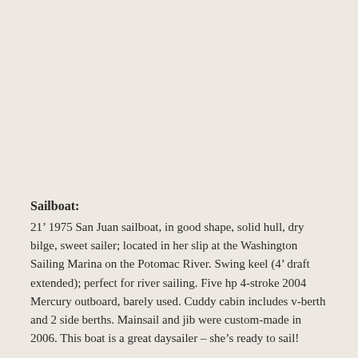Sailboat:
21’ 1975 San Juan sailboat, in good shape, solid hull, dry bilge, sweet sailer; located in her slip at the Washington Sailing Marina on the Potomac River. Swing keel (4’ draft extended); perfect for river sailing. Five hp 4-stroke 2004 Mercury outboard, barely used. Cuddy cabin includes v-berth and 2 side berths. Mainsail and jib were custom-made in 2006. This boat is a great daysailer – she’s ready to sail!
Equipment on Board: